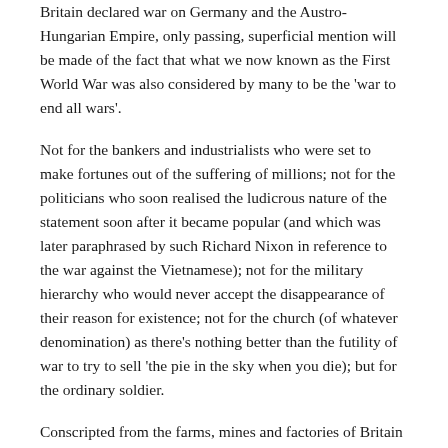Britain declared war on Germany and the Austro-Hungarian Empire, only passing, superficial mention will be made of the fact that what we now known as the First World War was also considered by many to be the 'war to end all wars'.
Not for the bankers and industrialists who were set to make fortunes out of the suffering of millions; not for the politicians who soon realised the ludicrous nature of the statement soon after it became popular (and which was later paraphrased by such Richard Nixon in reference to the war against the Vietnamese); not for the military hierarchy who would never accept the disappearance of their reason for existence; not for the church (of whatever denomination) as there's nothing better than the futility of war to try to sell 'the pie in the sky when you die); but for the ordinary soldier.
Conscripted from the farms, mines and factories of Britain they were thrown into the horror of trench warfare of the western front or the slaughter on the beaches of Gallipoli. They wouldn't be the same after seeing 'Paree' on their return home (if they weren't destined to remain at places like Tyne Cot outside Passchendaele) and would have been a force to reckon with if